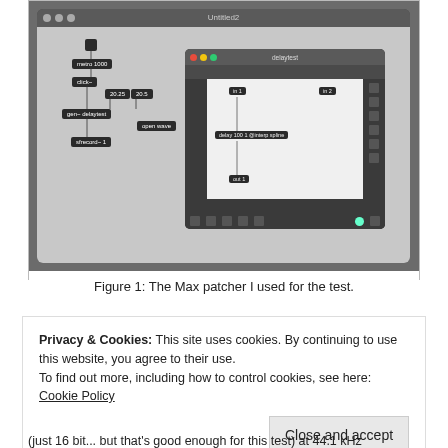[Figure (screenshot): Screenshot of a Max patcher environment showing an outer Max window (Untitled2) containing patch nodes (metro 1000, click~, gen~ delaytest, sfrecord~ 1, open wave, and number boxes 20.25 and 20.5), and an inner gen~ subpatcher window titled 'delaytest' with nodes: in 1, in 2, delay 100 1 @interp spline, out 1, connected by patch cords.]
Figure 1: The Max patcher I used for the test.
Privacy & Cookies: This site uses cookies. By continuing to use this website, you agree to their use.
To find out more, including how to control cookies, see here: Cookie Policy
(just 16 bit... but that's good enough for this test) at 44.1 kHz